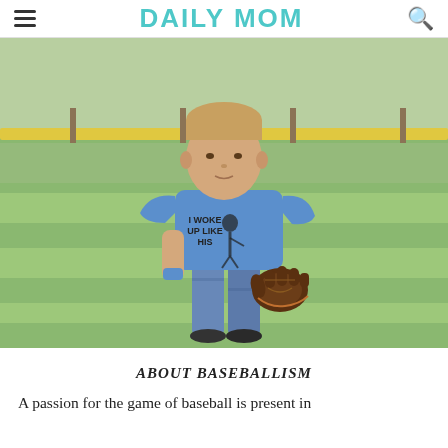DAILY MOM
[Figure (photo): Boy standing on a baseball field wearing a blue t-shirt that reads 'I WOKE UP LIKE HIS' with a baseball player graphic, holding a baseball glove in his right hand, one hand in pocket, with a grass field and yellow fence in the background.]
ABOUT BASEBALLISM
A passion for the game of baseball is present in